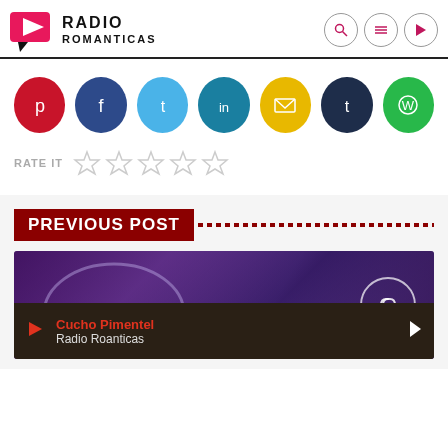Radio Romanticas
[Figure (infographic): Social sharing buttons row: Pinterest (red), Facebook (dark blue), Twitter (light blue), LinkedIn (teal), Email (yellow), Tumblr (dark navy), WhatsApp (green)]
RATE IT ☆ ☆ ☆ ☆ ☆
PREVIOUS POST
[Figure (photo): Dark purple/blue background with headphones silhouette, a circular link icon on the right side]
Cucho Pimentel
Radio Roanticas